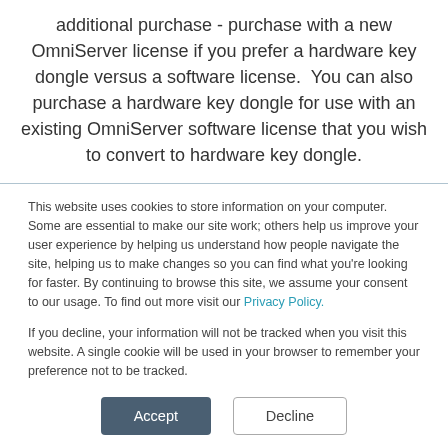additional purchase - purchase with a new OmniServer license if you prefer a hardware key dongle versus a software license.  You can also purchase a hardware key dongle for use with an existing OmniServer software license that you wish to convert to hardware key dongle.
This website uses cookies to store information on your computer. Some are essential to make our site work; others help us improve your user experience by helping us understand how people navigate the site, helping us to make changes so you can find what you're looking for faster. By continuing to browse this site, we assume your consent to our usage. To find out more visit our Privacy Policy.
If you decline, your information will not be tracked when you visit this website. A single cookie will be used in your browser to remember your preference not to be tracked.